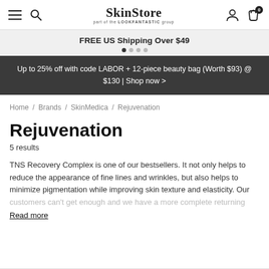SkinStore — part of the LOOKFANTASTIC group
FREE US Shipping Over $49
Up to 25% off with code LABOR + 12-piece beauty bag (Worth $93) @ $130 | Shop now >
Home / Brands / SkinMedica / Rejuvenation
Rejuvenation
5 results
TNS Recovery Complex is one of our bestsellers. It not only helps to reduce the appearance of fine lines and wrinkles, but also helps to minimize pigmentation while improving skin texture and elasticity. Our customers can't get enough and we have a more complete returning and
Read more